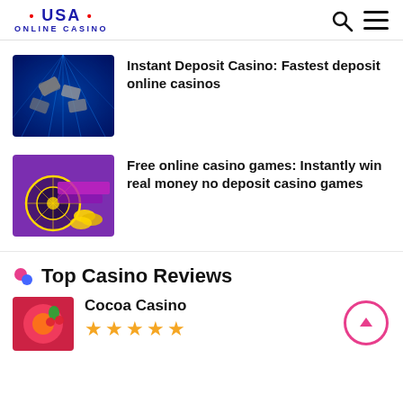• USA • ONLINE CASINO
[Figure (illustration): Blue digital tunnel with flying dollar bills — Instant Deposit Casino thumbnail]
Instant Deposit Casino: Fastest deposit online casinos
[Figure (illustration): Purple background with roulette wheel and gold coins — Free online casino games thumbnail]
Free online casino games: Instantly win real money no deposit casino games
Top Casino Reviews
Cocoa Casino
[Figure (illustration): Five gold star rating]